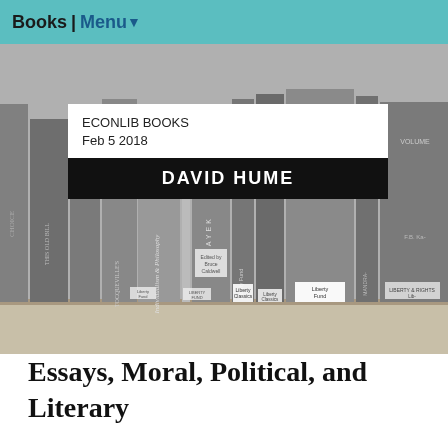Books | Menu
[Figure (photo): Grayscale photo of a bookshelf with multiple book spines visible, including titles by David Hume and Hayek, published by Liberty Fund]
ECONLIB BOOKS
Feb 5 2018
DAVID HUME
Essays, Moral, Political, and Literary